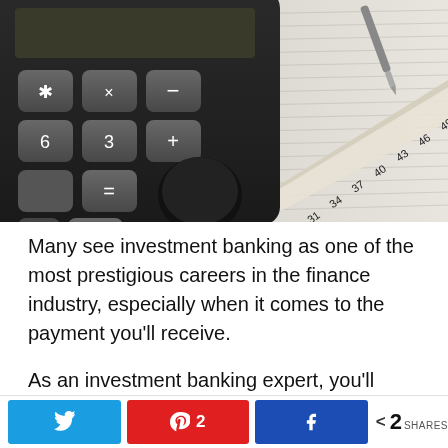[Figure (photo): Close-up photograph of a black calculator with grey keys showing numbers 6, 3, x, minus, plus, equals, and dot, alongside a ruler showing numbers 25 through 58, a pen, and financial document paper with horizontal lines in the background.]
Many see investment banking as one of the most prestigious careers in the finance industry, especially when it comes to the payment you'll receive.
As an investment banking expert, you'll work with investors and help them decide on a business opportunity that works best for them. Of course, it should